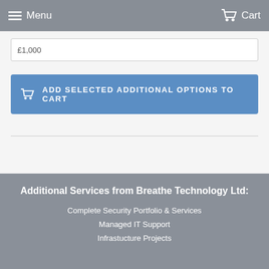Menu   Cart
£1,000
ADD SELECTED ADDITIONAL OPTIONS TO CART
Additional Services from Breathe Technology Ltd:
Complete Security Portfolio & Services
Managed IT Support
Infrastucture Projects